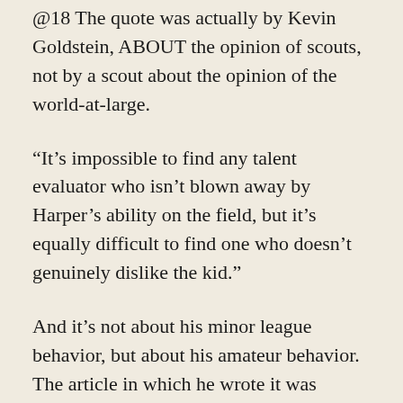@18 The quote was actually by Kevin Goldstein, ABOUT the opinion of scouts, not by a scout about the opinion of the world-at-large.
“It’s impossible to find any talent evaluator who isn’t blown away by Harper’s ability on the field, but it’s equally difficult to find one who doesn’t genuinely dislike the kid.”
And it’s not about his minor league behavior, but about his amateur behavior. The article in which he wrote it was published while Harper was 17, so the evaluations were of a 16 and 17 year old kid.
Not that I like the guy, or anything. I just